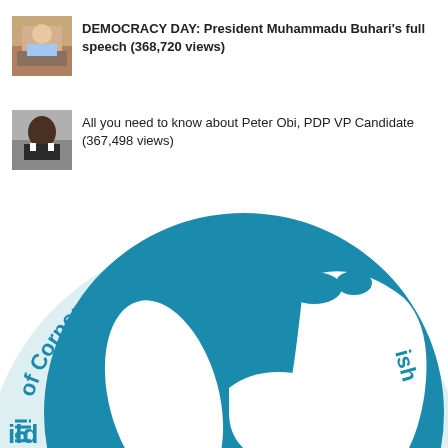DEMOCRACY DAY: President Muhammadu Buhari's full speech (368,720 views)
All you need to know about Peter Obi, PDP VP Candidate (367,498 views)
[Figure (logo): Guild of Corporate Online Publishers logo — blue globe with text curved around it reading 'Guild of Corporate Online Publish...' partially visible]